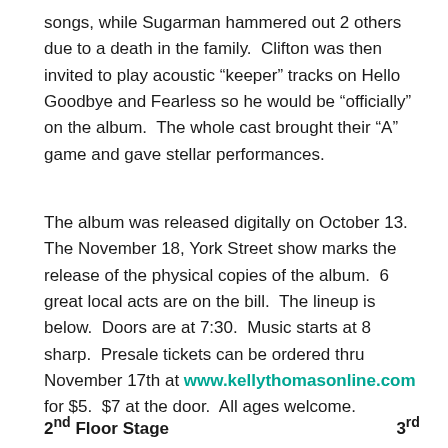songs, while Sugarman hammered out 2 others due to a death in the family.  Clifton was then invited to play acoustic “keeper” tracks on Hello Goodbye and Fearless so he would be “officially” on the album.  The whole cast brought their “A” game and gave stellar performances.
The album was released digitally on October 13. The November 18, York Street show marks the release of the physical copies of the album.  6 great local acts are on the bill.  The lineup is below.  Doors are at 7:30.  Music starts at 8 sharp.  Presale tickets can be ordered thru November 17th at www.kellythomasonline.com for $5.  $7 at the door.  All ages welcome.
2nd Floor Stage    3rd